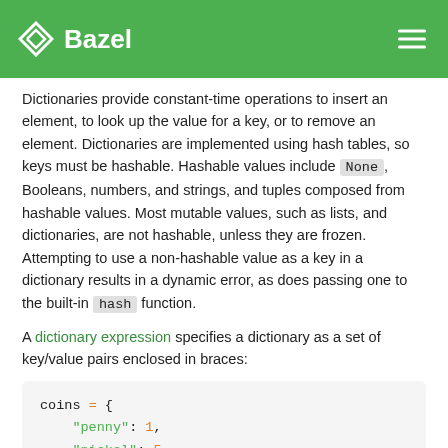Bazel
Dictionaries provide constant-time operations to insert an element, to look up the value for a key, or to remove an element. Dictionaries are implemented using hash tables, so keys must be hashable. Hashable values include None, Booleans, numbers, and strings, and tuples composed from hashable values. Most mutable values, such as lists, and dictionaries, are not hashable, unless they are frozen. Attempting to use a non-hashable value as a key in a dictionary results in a dynamic error, as does passing one to the built-in hash function.
A dictionary expression specifies a dictionary as a set of key/value pairs enclosed in braces:
[Figure (screenshot): Code block showing Starlark/Python dictionary syntax: coins = { "penny": 1, "nickel": 5, "dime": 10, "quarter": 25, }]